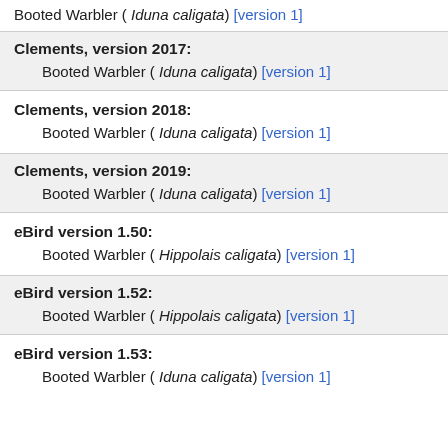Booted Warbler ( Iduna caligata) [version 1]
Clements, version 2017:
Booted Warbler ( Iduna caligata) [version 1]
Clements, version 2018:
Booted Warbler ( Iduna caligata) [version 1]
Clements, version 2019:
Booted Warbler ( Iduna caligata) [version 1]
eBird version 1.50:
Booted Warbler ( Hippolais caligata) [version 1]
eBird version 1.52:
Booted Warbler ( Hippolais caligata) [version 1]
eBird version 1.53:
Booted Warbler ( Iduna caligata) [version 1]